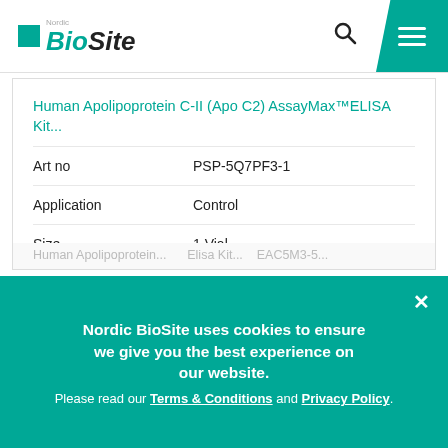Nordic BioSite
Human Apolipoprotein C-II (Apo C2) AssayMax™ELISA Kit...
| Field | Value |
| --- | --- |
| Art no | PSP-5Q7PF3-1 |
| Application | Control |
| Size | 1 Vial |
| Price | Login for price |
Nordic BioSite uses cookies to ensure we give you the best experience on our website. Please read our Terms & Conditions and Privacy Policy.